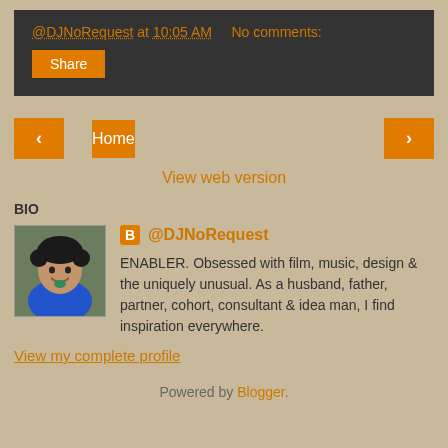@DJNoRequest at 10:05 AM   No comments:
Share
< Home >
View web version
BIO
[Figure (photo): Profile photo of @DJNoRequest, a man with curly dark hair smiling, wearing a blue shirt]
@DJNoRequest
ENABLER. Obsessed with film, music, design & the uniquely unusual. As a husband, father, partner, cohort, consultant & idea man, I find inspiration everywhere.
View my complete profile
Powered by Blogger.